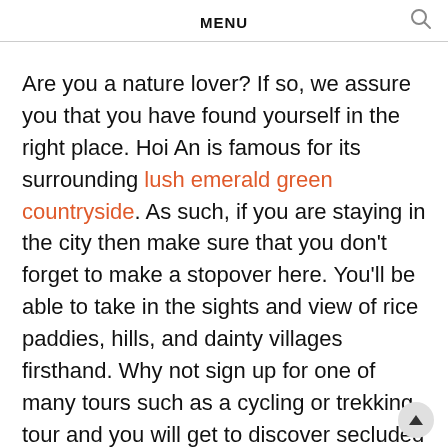MENU
Are you a nature lover? If so, we assure you that you have found yourself in the right place. Hoi An is famous for its surrounding lush emerald green countryside. As such, if you are staying in the city then make sure that you don't forget to make a stopover here. You'll be able to take in the sights and view of rice paddies, hills, and dainty villages firsthand. Why not sign up for one of many tours such as a cycling or trekking tour and you will get to discover secluded beaches, mountain passes and much more!